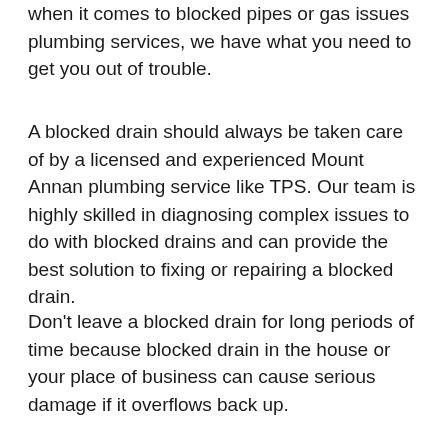when it comes to blocked pipes or gas issues plumbing services, we have what you need to get you out of trouble.
A blocked drain should always be taken care of by a licensed and experienced Mount Annan plumbing service like TPS. Our team is highly skilled in diagnosing complex issues to do with blocked drains and can provide the best solution to fixing or repairing a blocked drain.
Don't leave a blocked drain for long periods of time because blocked drain in the house or your place of business can cause serious damage if it overflows back up.